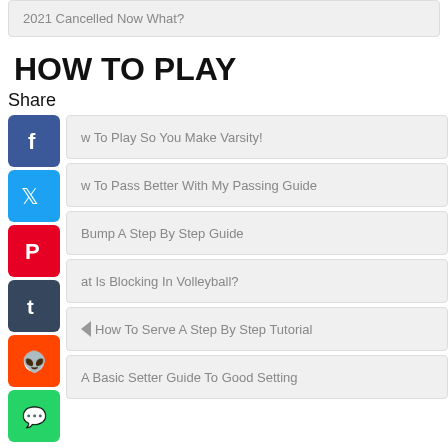2021 Cancelled Now What?
HOW TO PLAY
Share
w To Play So You Make Varsity!
w To Pass Better With My Passing Guide
Bump A Step By Step Guide
at Is Blocking In Volleyball?
How To Serve A Step By Step Tutorial
A Basic Setter Guide To Good Setting